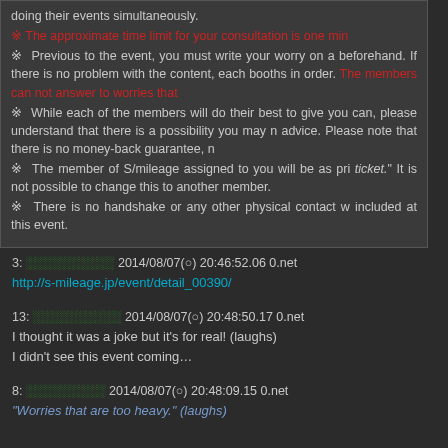doing their events simultaneously.
※ The approximate time limit for your consultation is one min...
※ Previous to the event, you must write your worry on a beforehand. If there is no problem with the content, each booths in order. The members can not answer to worries that...
※ While each of the members will do their best to give you can, please understand that there is a possibility you may n advice. Please note that there is no money-back guarantee, n
※ The member of S/mileage assigned to you will be as pri ticket." It is not possible to change this to another member.
※ There is no handshake or any other physical contact w included at this event.
3: ░░░░░░░░░░ 2014/08/07(○) 20:46:52.06 0.net
http://s-mileage.jp/event/detail_00390/
13: ░░░░░░░░░░ 2014/08/07(○) 20:48:50.17 0.net
I thought it was a joke but it's for real! (laughs)
I didn't see this event coming…
8: ░░░░░░░░░ 2014/08/07(○) 20:48:09.15 0.net
"Worries that are too heavy." (laughs)